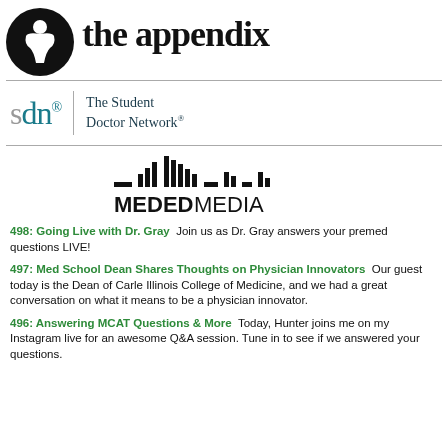[Figure (logo): The Appendix podcast logo: black circle with stylized figure, and serif title 'the appendix']
[Figure (logo): Student Doctor Network (SDN) logo with teal 'd' and 'n', grey 's', and tagline 'The Student Doctor Network']
[Figure (logo): MedEdMedia logo with equalizer graphic and bold lettering]
498: Going Live with Dr. Gray  Join us as Dr. Gray answers your premed questions LIVE!
497: Med School Dean Shares Thoughts on Physician Innovators  Our guest today is the Dean of Carle Illinois College of Medicine, and we had a great conversation on what it means to be a physician innovator.
496: Answering MCAT Questions & More  Today, Hunter joins me on my Instagram live for an awesome Q&A session. Tune in to see if we answered your questions.